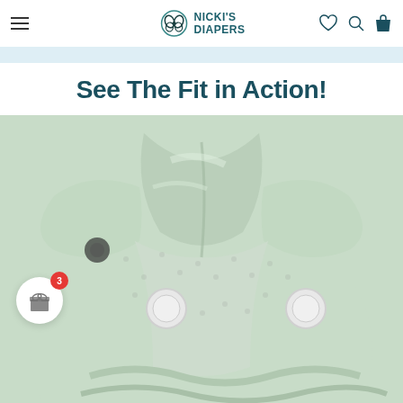Nicki's Diapers - navigation header with hamburger menu, logo, heart, search, and bag icons
See The Fit in Action!
[Figure (photo): Close-up photo of a mint/light green cloth diaper showing the front panel with snap closures and a center fold/gusset. The diaper is made of a textured terry-like fabric. Two white snap buttons are visible on the front. A small circular gift reward widget with a red badge showing '3' appears in the lower-left area of the image.]